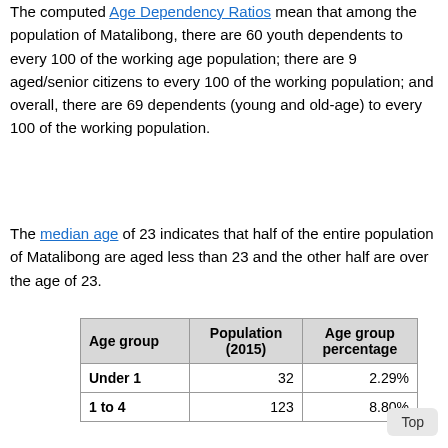The computed Age Dependency Ratios mean that among the population of Matalibong, there are 60 youth dependents to every 100 of the working age population; there are 9 aged/senior citizens to every 100 of the working population; and overall, there are 69 dependents (young and old-age) to every 100 of the working population.
The median age of 23 indicates that half of the entire population of Matalibong are aged less than 23 and the other half are over the age of 23.
| Age group | Population (2015) | Age group percentage |
| --- | --- | --- |
| Under 1 | 32 | 2.29% |
| 1 to 4 | 123 | 8.80% |